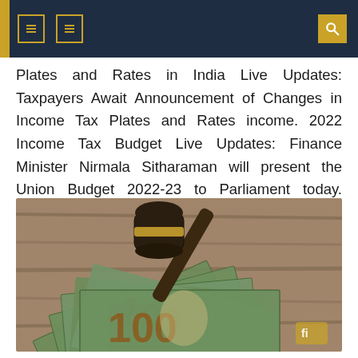[ ] [ ] [search]
Plates and Rates in India Live Updates: Taxpayers Await Announcement of Changes in Income Tax Plates and Rates income. 2022 Income Tax Budget Live Updates: Finance Minister Nirmala Sitharaman will present the Union Budget 2022-23 to Parliament today. Taxpayers expect the announcement of changes to [...]
[Figure (photo): A judge's gavel resting on top of a spread of US hundred dollar bills on a wooden surface. The gavel is black with a gold/bronze band, and the bills show the number 100 clearly.]